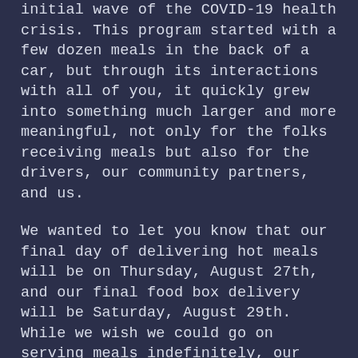initial wave of the COVID-19 health crisis. This program started with a few dozen meals in the back of a car, but through its interactions with all of you, it quickly grew into something much larger and more meaningful, not only for the folks receiving meals but also for the drivers, our community partners, and us.
We wanted to let you know that our final day of delivering hot meals will be on Thursday, August 27th, and our final food box delivery will be Saturday, August 29th. While we wish we could go on serving meals indefinitely, our structure and finances were developed for a limited time period at the onset of the COVID-19 pandemic which included successfully delivering through August.
Food boxes will likely still be available in September via the USDA Farmers to Families Food program, and once we get additional details we are committed to sharing them